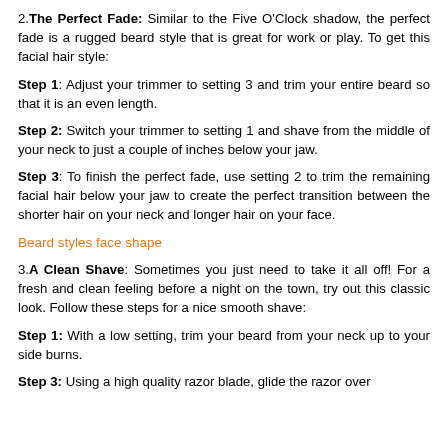trimmer setting;
2. The Perfect Fade: Similar to the Five O'Clock shadow, the perfect fade is a rugged beard style that is great for work or play. To get this facial hair style:
Step 1: Adjust your trimmer to setting 3 and trim your entire beard so that it is an even length.
Step 2: Switch your trimmer to setting 1 and shave from the middle of your neck to just a couple of inches below your jaw.
Step 3: To finish the perfect fade, use setting 2 to trim the remaining facial hair below your jaw to create the perfect transition between the shorter hair on your neck and longer hair on your face.
Beard styles face shape
3. A Clean Shave: Sometimes you just need to take it all off! For a fresh and clean feeling before a night on the town, try out this classic look. Follow these steps for a nice smooth shave:
Step 1: With a low setting, trim your beard from your neck up to your side burns.
Step 3: Using a high quality razor blade, glide the razor over